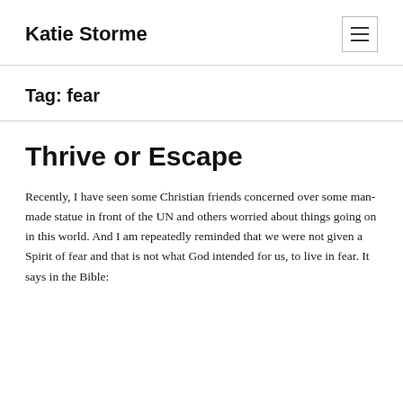Katie Storme
Tag: fear
Thrive or Escape
Recently, I have seen some Christian friends concerned over some man-made statue in front of the UN and others worried about things going on in this world. And I am repeatedly reminded that we were not given a Spirit of fear and that is not what God intended for us, to live in fear. It says in the Bible: